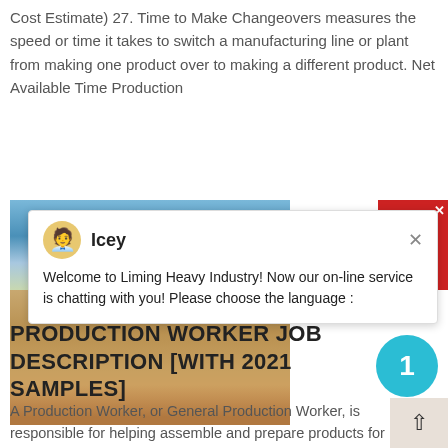Cost Estimate) 27. Time to Make Changeovers measures the speed or time it takes to switch a manufacturing line or plant from making one product over to making a different product. Net Available Time Production
get price
[Figure (photo): Outdoor construction or industrial site photo showing blue sky at top and sandy/dirt ground with workers at bottom]
[Figure (screenshot): Chat widget overlay from Liming Heavy Industry with avatar named Icey and welcome message]
PRODUCTION WORKER JOB DESCRIPTION [WITH 2021 SAMPLES]
A Production Worker, or General Production Worker, is responsible for helping assemble and prepare products for shipment. Their duties include placing raw materials or products